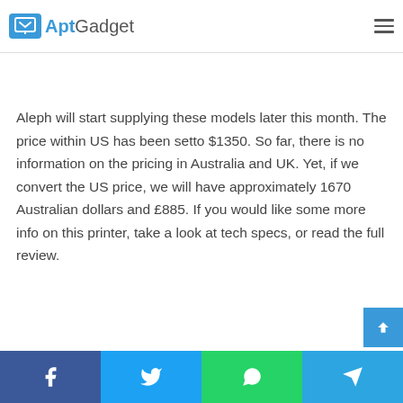AptGadget
one of the most user-friendly 3D printers. According to Aleph, speed and high definition at every detail.
Aleph will start supplying these models later this month. The price within US has been setto $1350. So far, there is no information on the pricing in Australia and UK. Yet, if we convert the US price, we will have approximately 1670 Australian dollars and £885. If you would like some more info on this printer, take a look at tech specs, or read the full review.
LulzBot Mini Additional Specifications
Some of the printer materials include Polyester;
Facebook Twitter WhatsApp Telegram